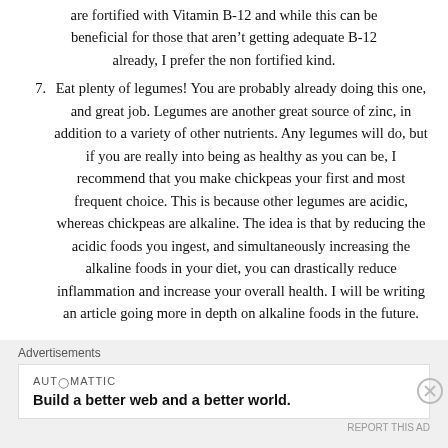are fortified with Vitamin B-12 and while this can be beneficial for those that aren't getting adequate B-12 already, I prefer the non fortified kind.
7. Eat plenty of legumes! You are probably already doing this one, and great job. Legumes are another great source of zinc, in addition to a variety of other nutrients. Any legumes will do, but if you are really into being as healthy as you can be, I recommend that you make chickpeas your first and most frequent choice. This is because other legumes are acidic, whereas chickpeas are alkaline. The idea is that by reducing the acidic foods you ingest, and simultaneously increasing the alkaline foods in your diet, you can drastically reduce inflammation and increase your overall health. I will be writing an article going more in depth on alkaline foods in the future.
In conclusion, these changes are not fancy, nor complicated. Anyone can make them, but you have to
Advertisements
[Figure (other): Advertisement banner: AUTOMATTIC logo with tagline 'Build a better web and a better world.']